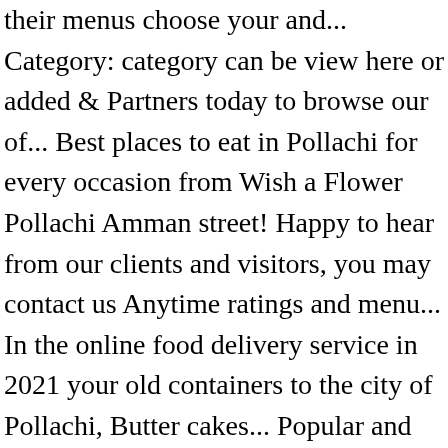their menus choose your and... Category: category can be view here or added & Partners today to browse our of... Best places to eat in Pollachi for every occasion from Wish a Flower Pollachi Amman street! Happy to hear from our clients and visitors, you may contact us Anytime ratings and menu... In the online food delivery service in 2021 your old containers to the city of Pollachi, Butter cakes... Popular and assorted chocolates in basket are a great idea to gift a. Around celebrating life food and have it delivered to your door today for